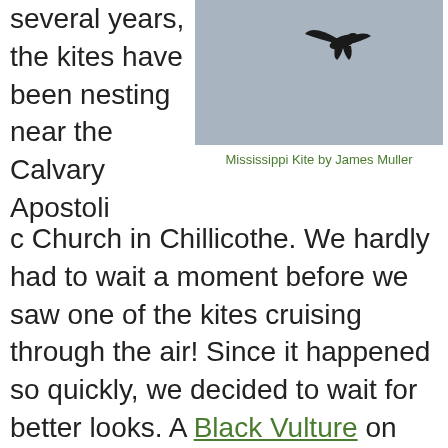several years, the kites have been nesting near the Calvary Apostolic Church in Chillicothe. We hardly had to wait a moment before we saw one of the kites cruising through the air! Since it happened so quickly, we decided to wait for better looks. A Black Vulture on top of the church kept us company while we were treated to a variety of raptors; including the kites, we also saw Cooper's Hawk and Broad-winged Hawk! A
[Figure (photo): A bird (Mississippi Kite) in flight against a gray sky background.]
Mississippi Kite by James Muller